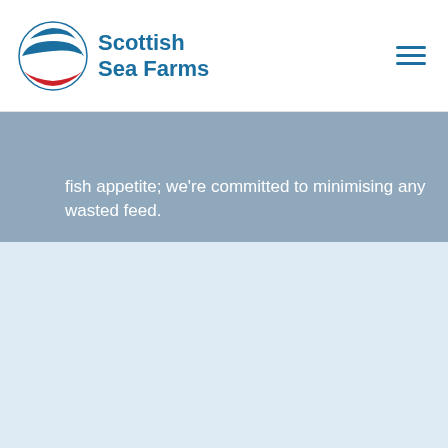[Figure (logo): Scottish Sea Farms logo — circular emblem with blue waves and red accent, with 'Scottish Sea Farms' text in blue to the right]
fish appetite; we're committed to minimising any wasted feed.
Fish containment
Body text describing fish containment (faded/low contrast in original)
Zero
escapes in the last 10 years